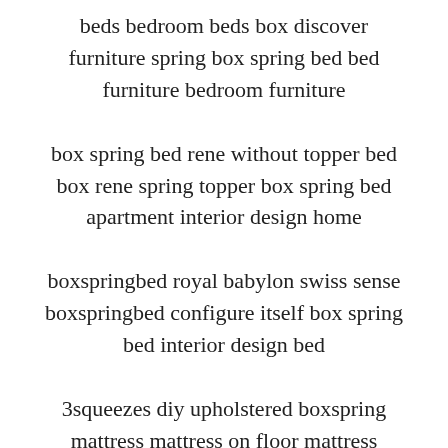beds bedroom beds box discover furniture spring box spring bed bed furniture bedroom furniture
box spring bed rene without topper bed box rene spring topper box spring bed apartment interior design home
boxspringbed royal babylon swiss sense boxspringbed configure itself box spring bed interior design bed
3squeezes diy upholstered boxspring mattress mattress on floor mattress matress on floor ideas